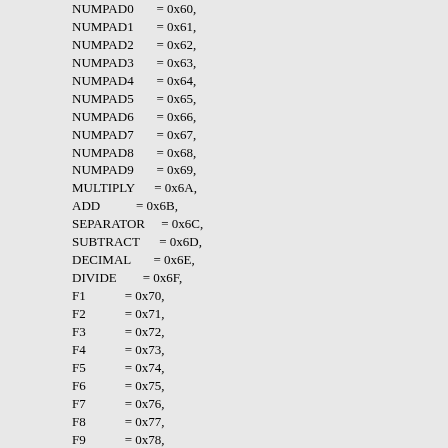NUMPAD0       = 0x60,
NUMPAD1       = 0x61,
NUMPAD2       = 0x62,
NUMPAD3       = 0x63,
NUMPAD4       = 0x64,
NUMPAD5       = 0x65,
NUMPAD6       = 0x66,
NUMPAD7       = 0x67,
NUMPAD8       = 0x68,
NUMPAD9       = 0x69,
MULTIPLY      = 0x6A,
ADD           = 0x6B,
SEPARATOR     = 0x6C,
SUBTRACT      = 0x6D,
DECIMAL       = 0x6E,
DIVIDE        = 0x6F,
F1            = 0x70,
F2            = 0x71,
F3            = 0x72,
F4            = 0x73,
F5            = 0x74,
F6            = 0x75,
F7            = 0x76,
F8            = 0x77,
F9            = 0x78,
F10           = 0x79,
F11           = 0x7A,
F12           = 0x7B,
OEM_1         = 0xBA,  // ';:' for US